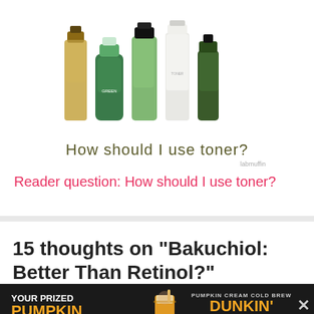[Figure (illustration): Five skincare toner bottles of different shapes and colors (brown, green, clear green, white, dark green) arranged in a row, with handwritten text below reading 'How should I use toner?' and attribution 'labmuffin']
Reader question: How should I use toner?
15 thoughts on “Bakuchiol: Better Than Retinol?”
[Figure (other): Dunkin' advertisement banner with orange text 'YOUR PRIZED PUMPKIN' and 'DUNKIN' ORDER NOW' against dark background with pumpkin cream cold brew image]